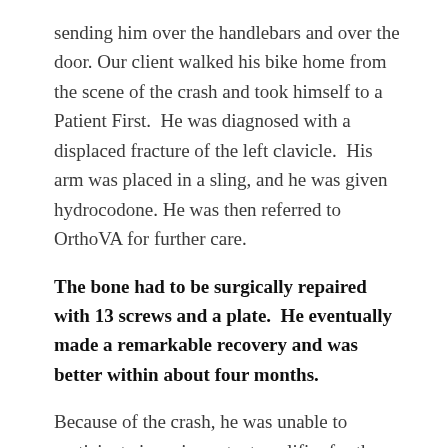sending him over the handlebars and over the door. Our client walked his bike home from the scene of the crash and took himself to a Patient First.  He was diagnosed with a displaced fracture of the left clavicle.  His arm was placed in a sling, and he was given hydrocodone. He was then referred to OrthoVA for further care.
The bone had to be surgically repaired with 13 screws and a plate.  He eventually made a remarkable recovery and was better within about four months.
Because of the crash, he was unable to participate in an important qualifier for the Olympic Marathon